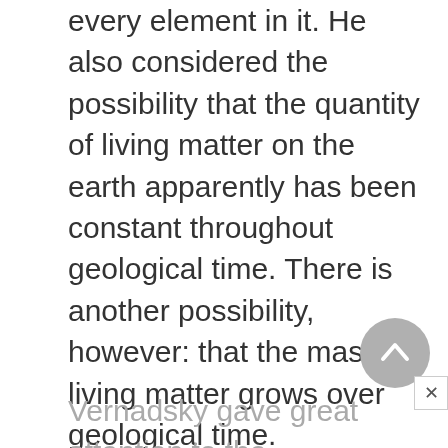every element in it. He also considered the possibility that the quantity of living matter on the earth apparently has been constant throughout geological time. There is another possibility, however: that the mass of living matter grows over geological time. Vernadsky is thus considered the founder of the theory of the biosphere and of a new area of geochemistry: biogeochemistry.
Vernadsky gave great attention to the